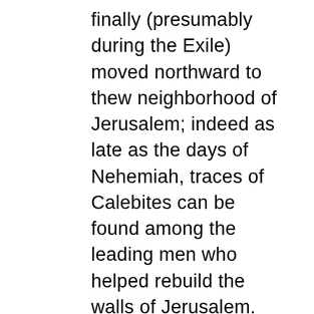finally (presumably during the Exile) moved northward to thew neighborhood of Jerusalem; indeed as late as the days of Nehemiah, traces of Calebites can be found among the leading men who helped rebuild the walls of Jerusalem. The evidence, on the face of it, might seem naturally to a Judah of semi-Edomite origin, the creation of David, in whose early days these clans han an independent existence in the south of Judah (1Samuel 26:31). It is quite in agreement with this perspective of history that the Chronicler, after describing the singularly mixed constituents of the new Judah (Benjamin can also be included) proceeds to represent a temple service inaugurated by David